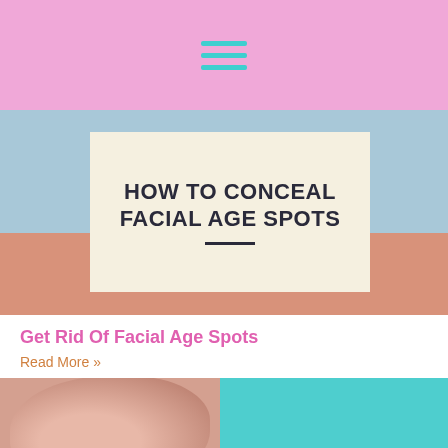hamburger menu icon
[Figure (photo): Blog post hero image with text 'HOW TO CONCEAL FACIAL AGE SPOTS' on a cream card over a colorful striped background with blue top and salmon/pink bottom sections]
Get Rid Of Facial Age Spots
Read More »
[Figure (photo): Close-up photo of a human ear on the left half, and a solid teal/turquoise background on the right half]